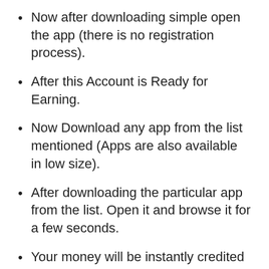Now after downloading simple open the app (there is no registration process).
After this Account is Ready for Earning.
Now Download any app from the list mentioned (Apps are also available in low size).
After downloading the particular app from the list. Open it and browse it for a few seconds.
Your money will be instantly credited to your account.
How To Refer and Earn on Jet Recharge App and Earn Up to 2000?
You can earn sound Paytm cash on Jet